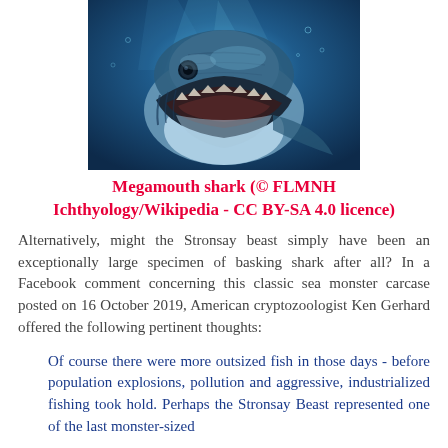[Figure (photo): Close-up photograph of a megamouth shark underwater, showing its large open mouth, viewed from a low angle against a blue background.]
Megamouth shark (© FLMNH Ichthyology/Wikipedia - CC BY-SA 4.0 licence)
Alternatively, might the Stronsay beast simply have been an exceptionally large specimen of basking shark after all? In a Facebook comment concerning this classic sea monster carcase posted on 16 October 2019, American cryptozoologist Ken Gerhard offered the following pertinent thoughts:
Of course there were more outsized fish in those days - before population explosions, pollution and aggressive, industrialized fishing took hold. Perhaps the Stronsay Beast represented one of the last monster-sized